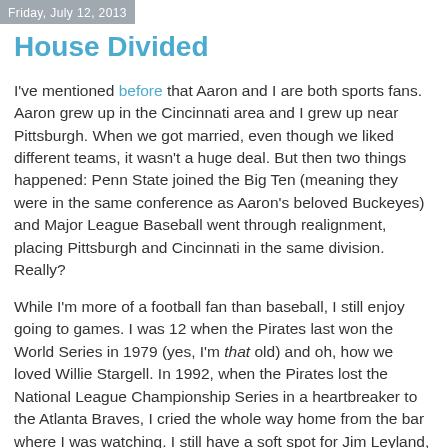Friday, July 12, 2013
House Divided
I've mentioned before that Aaron and I are both sports fans. Aaron grew up in the Cincinnati area and I grew up near Pittsburgh. When we got married, even though we liked different teams, it wasn't a huge deal. But then two things happened: Penn State joined the Big Ten (meaning they were in the same conference as Aaron's beloved Buckeyes) and Major League Baseball went through realignment, placing Pittsburgh and Cincinnati in the same division. Really?
While I'm more of a football fan than baseball, I still enjoy going to games. I was 12 when the Pirates last won the World Series in 1979 (yes, I'm that old) and oh, how we loved Willie Stargell. In 1992, when the Pirates lost the National League Championship Series in a heartbreaker to the Atlanta Braves, I cried the whole way home from the bar where I was watching. I still have a soft spot for Jim Leyland, the manager at the time, even though he's now in Detroit.